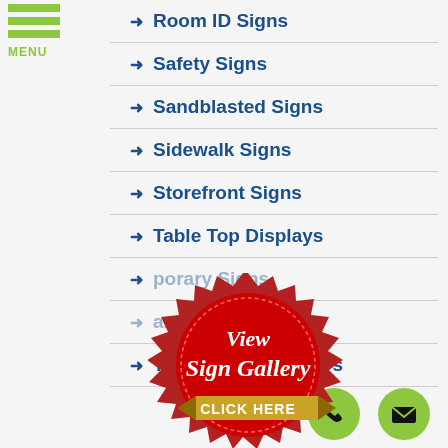Room ID Signs
Safety Signs
Sandblasted Signs
Sidewalk Signs
Storefront Signs
Table Top Displays
Temporary Signs
Tenant Signs
Trade Show Displays
[Figure (illustration): Red seal badge with 'View Sign Gallery CLICK HERE' text and gold ribbon banner]
[Figure (illustration): Green circle phone button icon]
[Figure (illustration): Green circle email/envelope button icon]